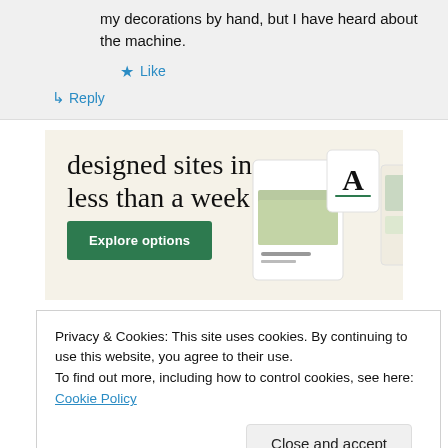my decorations by hand, but I have heard about the machine.
★ Like
↳ Reply
[Figure (infographic): Advertisement banner with cream/beige background. Text reads 'designed sites in less than a week' with a green 'Explore options' button on the left and device mockup screenshots on the right.]
Privacy & Cookies: This site uses cookies. By continuing to use this website, you agree to their use.
To find out more, including how to control cookies, see here: Cookie Policy
Close and accept